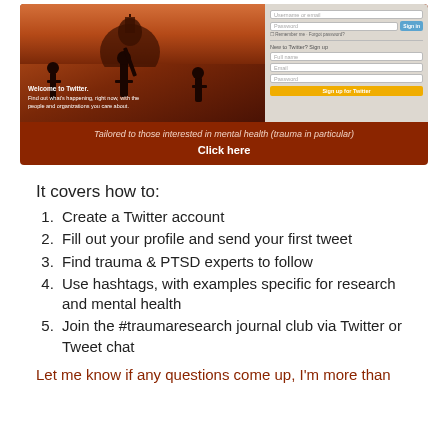[Figure (screenshot): Twitter homepage screenshot with a dark red background showing silhouettes of cricket players, welcome text 'Welcome to Twitter. Find out what's happening, right now, with the people and organizations you care about.' and a sign-up form on the right. Below the image: 'Tailored to those interested in mental health (trauma in particular)' and 'Click here']
It covers how to:
Create a Twitter account
Fill out your profile and send your first tweet
Find trauma & PTSD experts to follow
Use hashtags, with examples specific for research and mental health
Join the #traumaresearch journal club via Twitter or Tweet chat
Let me know if any questions come up, I'm more than